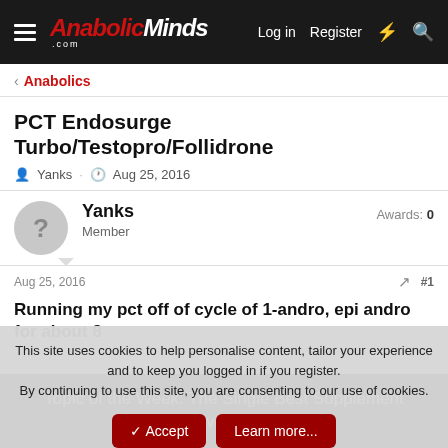AnabolicMinds.com — Log in  Register
< Anabolics
PCT Endosurge Turbo/Testopro/Follidrone
Yanks · Aug 25, 2016
Yanks Member  Awards: 0
Aug 25, 2016  #1
Running my pct off of cycle of 1-andro, epi andro for about 8
This site uses cookies to help personalise content, tailor your experience and to keep you logged in if you register.
By continuing to use this site, you are consenting to our use of cookies.
✓ Accept  Learn more...
Topic of the Week: The Single Best Supplement You've Taken